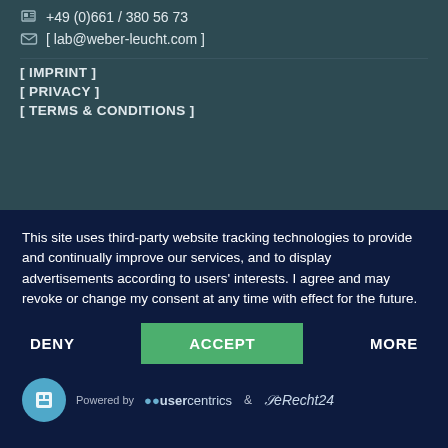+49 (0)661 / 380 56 73
[ lab@weber-leucht.com ]
[ IMPRINT ]
[ PRIVACY ]
[ TERMS & CONDITIONS ]
This site uses third-party website tracking technologies to provide and continually improve our services, and to display advertisements according to users' interests. I agree and may revoke or change my consent at any time with effect for the future.
DENY
ACCEPT
MORE
Powered by usercentrics & eRecht24